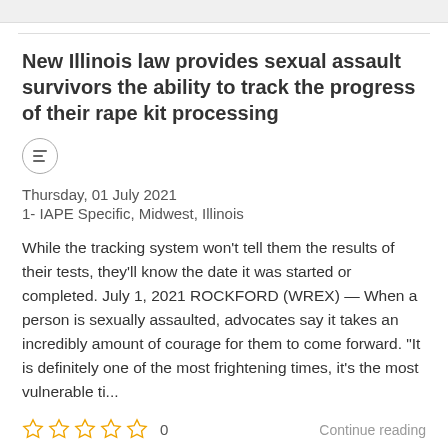New Illinois law provides sexual assault survivors the ability to track the progress of their rape kit processing
Thursday, 01 July 2021
1- IAPE Specific, Midwest, Illinois
While the tracking system won't tell them the results of their tests, they'll know the date it was started or completed. July 1, 2021 ROCKFORD (WREX) — When a person is sexually assaulted, advocates say it takes an incredibly amount of courage for them to come forward. "It is definitely one of the most frightening times, it's the most vulnerable ti...
0